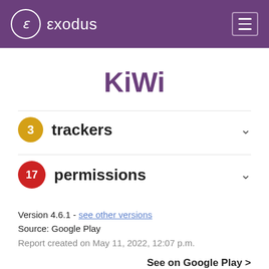exodus
KiWi
3 trackers
17 permissions
Version 4.6.1 - see other versions
Source: Google Play
Report created on May 11, 2022, 12:07 p.m.
See on Google Play >